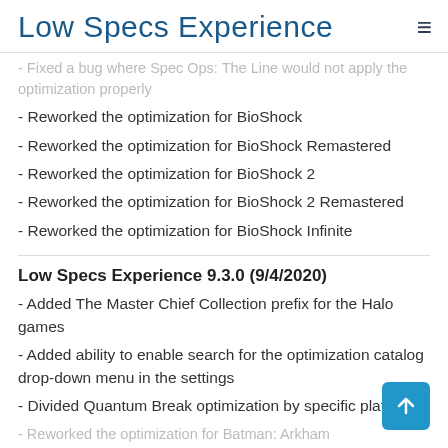Low Specs Experience
- Fixed a bug where Spec Ops: The Line would not apply the optimization properly
- Reworked the optimization for BioShock
- Reworked the optimization for BioShock Remastered
- Reworked the optimization for BioShock 2
- Reworked the optimization for BioShock 2 Remastered
- Reworked the optimization for BioShock Infinite
Low Specs Experience 9.3.0 (9/4/2020)
- Added The Master Chief Collection prefix for the Halo games
- Added ability to enable search for the optimization catalog drop-down menu in the settings
- Divided Quantum Break optimization by specific platforms
- Reworked the optimization for Batman: Arkham